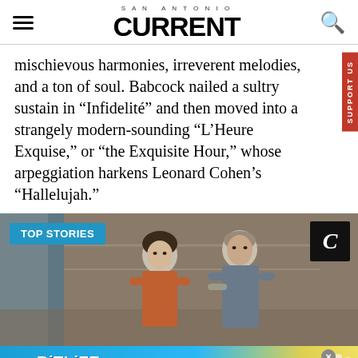SAN ANTONIO CURRENT
mischievous harmonies, irreverent melodies, and a ton of soul. Babcock nailed a sultry sustain in “Infidelité” and then moved into a strangely modern-sounding “L’Heure Exquise,” or “the Exquisite Hour,” whose arpeggiation harkens Leonard Cohen’s “Hallelujah.”
[Figure (photo): TOP STORIES section header over a photo of two people (a woman in an orange top and a man in grey) with Current magazine logo badge in corner]
[Figure (screenshot): BitLife advertisement banner: BitLife - Now with GOD MODE]